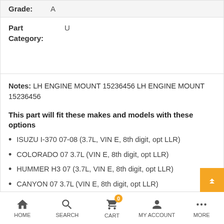Grade: A
Part Category: U
Notes: LH ENGINE MOUNT 15236456 LH ENGINE MOUNT 15236456
This part will fit these makes and models with these options
ISUZU I-370 07-08 (3.7L, VIN E, 8th digit, opt LLR)
COLORADO 07 3.7L (VIN E, 8th digit, opt LLR)
HUMMER H3 07 (3.7L, VIN E, 8th digit, opt LLR)
CANYON 07 3.7L (VIN E, 8th digit, opt LLR)
HOME  SEARCH  CART  MY ACCOUNT  MORE